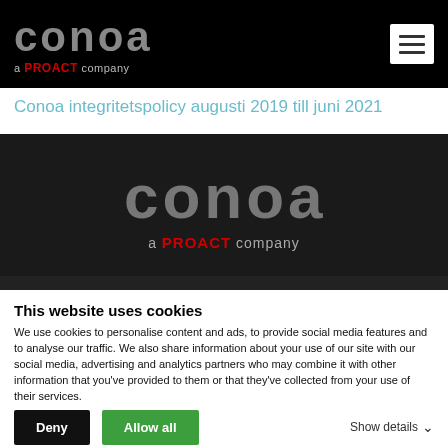conoa a PROACT company [navigation header]
Conoa integritetspolicy augusti 2019 till juni 2021
[Figure (logo): Conoa a PROACT company logo centered on dark background]
This website uses cookies
We use cookies to personalise content and ads, to provide social media features and to analyse our traffic. We also share information about your use of our site with our social media, advertising and analytics partners who may combine it with other information that you've provided to them or that they've collected from your use of their services.
Deny   Allow all   Show details